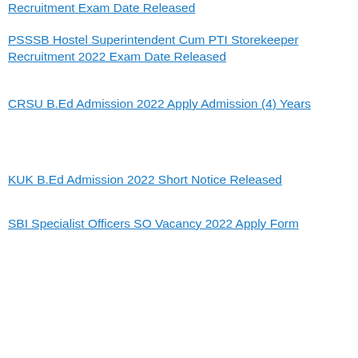Recruitment Exam Date Released
PSSSB Hostel Superintendent Cum PTI Storekeeper Recruitment 2022 Exam Date Released
CRSU B.Ed Admission 2022 Apply Admission (4) Years
KUK B.Ed Admission 2022 Short Notice Released
SBI Specialist Officers SO Vacancy 2022 Apply Form